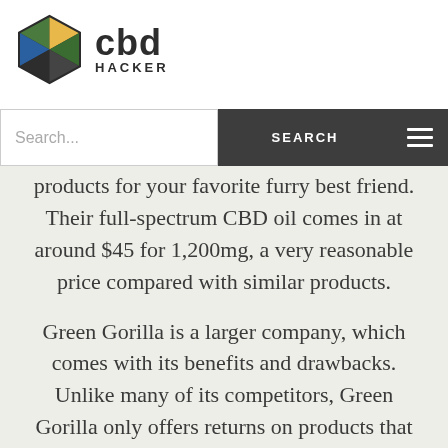cbd HACKER
Search...
products for your favorite furry best friend. Their full-spectrum CBD oil comes in at around $45 for 1,200mg, a very reasonable price compared with similar products.
Green Gorilla is a larger company, which comes with its benefits and drawbacks. Unlike many of its competitors, Green Gorilla only offers returns on products that haven't been opened. In other words, they don't offer returns (unless you have some magical ability to tell if you like it based on holding the unopened bottle in your hands). That said, so long as you're confident in the product you're purchasing, Green Gorilla has all the